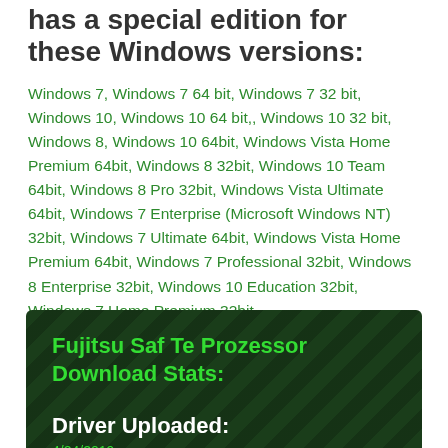has a special edition for these Windows versions:
Windows 7, Windows 7 64 bit, Windows 7 32 bit, Windows 10, Windows 10 64 bit,, Windows 10 32 bit, Windows 8, Windows 10 64bit, Windows Vista Home Premium 64bit, Windows 8 32bit, Windows 10 Team 64bit, Windows 8 Pro 32bit, Windows Vista Ultimate 64bit, Windows 7 Enterprise (Microsoft Windows NT) 32bit, Windows 7 Ultimate 64bit, Windows Vista Home Premium 64bit, Windows 7 Professional 32bit, Windows 8 Enterprise 32bit, Windows 10 Education 32bit, Windows 7 Home Premium 32bit,
Fujitsu Saf Te Prozessor Download Stats:
Driver Uploaded: 4/24/2019